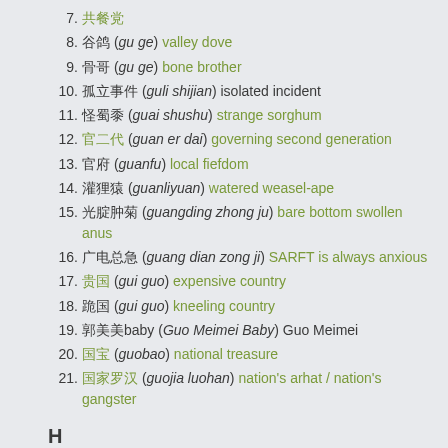7. 共餐党
8. 谷鸽 (gu ge) valley dove
9. 骨哥 (gu ge) bone brother
10. 孤立事件 (guli shijian) isolated incident
11. 怪蜀黍 (guai shushu) strange sorghum
12. 官二代 (guan er dai) governing second generation
13. 官府 (guanfu) local fiefdom
14. 灌狸猿 (guanliyuan) watered weasel-ape
15. 光腚肿菊 (guangding zhong ju) bare bottom swollen anus
16. 广电总急 (guang dian zong ji) SARFT is always anxious
17. 贵国 (gui guo) expensive country
18. 跪国 (gui guo) kneeling country
19. 郭美美baby (Guo Meimei Baby) Guo Meimei
20. 国宝 (guobao) national treasure
21. 国家罗汉 (guojia luohan) nation's arhat / nation's gangster